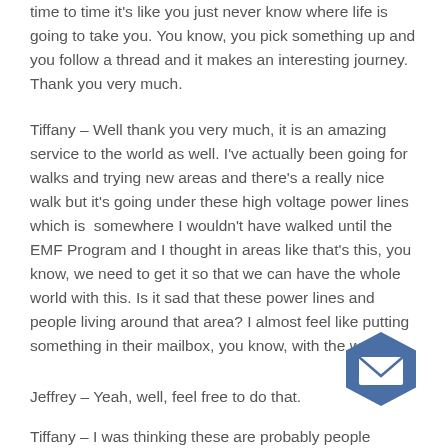time to time it's like you just never know where life is going to take you. You know, you pick something up and you follow a thread and it makes an interesting journey. Thank you very much.
Tiffany – Well thank you very much, it is an amazing service to the world as well. I've actually been going for walks and trying new areas and there's a really nice walk but it's going under these high voltage power lines which is  somewhere I wouldn't have walked until the EMF Program and I thought in areas like that's this, you know, we need to get it so that we can have the whole world with this. Is it sad that these power lines and people living around that area? I almost feel like putting something in their mailbox, you know, with the website.
Jeffrey – Yeah, well, feel free to do that.
Tiffany – I was thinking these are probably people